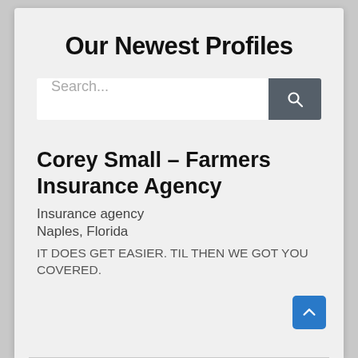Our Newest Profiles
[Figure (screenshot): Search bar with text input placeholder 'Search...' and a dark gray search button with magnifying glass icon]
Corey Small – Farmers Insurance Agency
Insurance agency
Naples, Florida
IT DOES GET EASIER. TIL THEN WE GOT YOU COVERED.